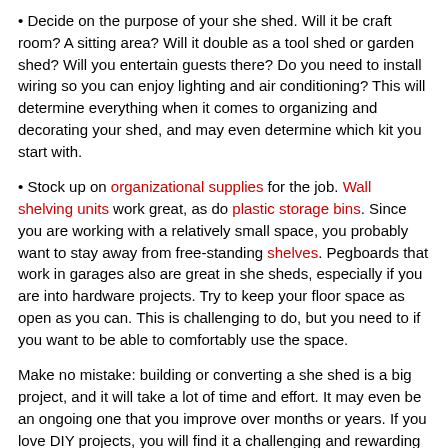Decide on the purpose of your she shed. Will it be craft room? A sitting area? Will it double as a tool shed or garden shed? Will you entertain guests there? Do you need to install wiring so you can enjoy lighting and air conditioning? This will determine everything when it comes to organizing and decorating your shed, and may even determine which kit you start with.
Stock up on organizational supplies for the job. Wall shelving units work great, as do plastic storage bins. Since you are working with a relatively small space, you probably want to stay away from free-standing shelves. Pegboards that work in garages also are great in she sheds, especially if you are into hardware projects. Try to keep your floor space as open as you can. This is challenging to do, but you need to if you want to be able to comfortably use the space.
Make no mistake: building or converting a she shed is a big project, and it will take a lot of time and effort. It may even be an ongoing one that you improve over months or years. If you love DIY projects, you will find it a challenging and rewarding one. The more planning you are willing to put into it, the better your result will be. So have fun with it and go all-out! And be sure to look on Pinterest for inspiration!